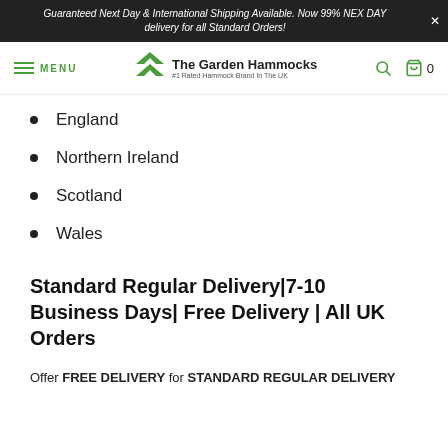Guaranteed Next Day & International Shipping Available. Now 99% NEX DAY delivery for all Standard Orders!
[Figure (logo): The Garden Hammocks logo with green chevron/arrow icon and text '#1 Rated Hammock Brand In The UK']
England
Northern Ireland
Scotland
Wales
Standard Regular Delivery|7-10 Business Days| Free Delivery | All UK Orders
Offer FREE DELIVERY for STANDARD REGULAR DELIVERY